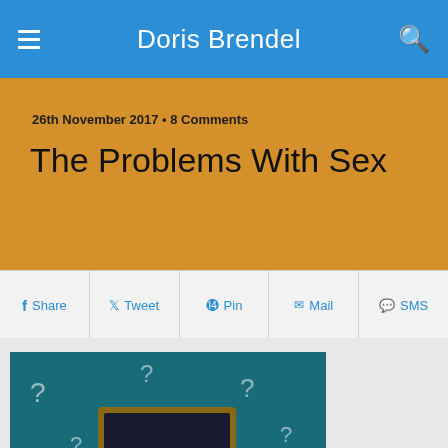Doris Brendel
26th November 2017 • 8 Comments
The Problems With Sex
Share  Tweet  Pin  Mail  SMS
[Figure (photo): Person holding a blackboard with a question mark on it, against a teal background covered with chalk question marks]